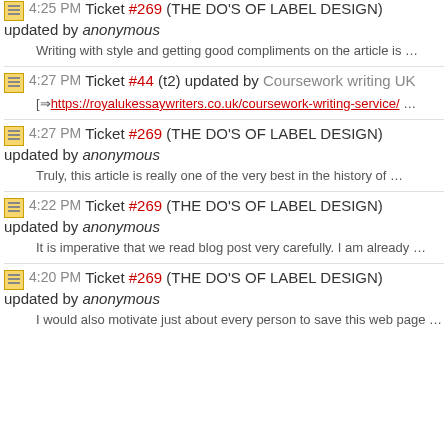4:25 PM Ticket #269 (THE DO'S OF LABEL DESIGN) updated by anonymous — Writing with style and getting good compliments on the article is …
4:27 PM Ticket #44 (t2) updated by Coursework writing UK — [→ https://royalukessaywriters.co.uk/coursework-writing-service/ …
4:27 PM Ticket #269 (THE DO'S OF LABEL DESIGN) updated by anonymous — Truly, this article is really one of the very best in the history of …
4:22 PM Ticket #269 (THE DO'S OF LABEL DESIGN) updated by anonymous — It is imperative that we read blog post very carefully. I am already …
4:20 PM Ticket #269 (THE DO'S OF LABEL DESIGN) updated by anonymous — I would also motivate just about every person to save this web page …